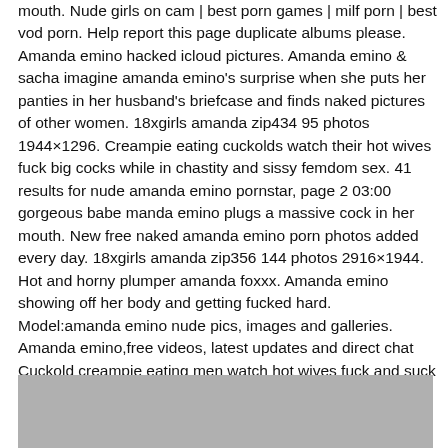mouth. Nude girls on cam | best porn games | milf porn | best vod porn. Help report this page duplicate albums please. Amanda emino hacked icloud pictures. Amanda emino & sacha imagine amanda emino's surprise when she puts her panties in her husband's briefcase and finds naked pictures of other women. 18xgirls amanda zip434 95 photos 1944×1296. Creampie eating cuckolds watch their hot wives fuck big cocks while in chastity and sissy femdom sex. 41 results for nude amanda emino pornstar, page 2 03:00 gorgeous babe manda emino plugs a massive cock in her mouth. New free naked amanda emino porn photos added every day. 18xgirls amanda zip356 144 photos 2916×1944. Hot and horny plumper amanda foxxx. Amanda emino showing off her body and getting fucked hard. Model:amanda emino nude pics, images and galleries. Amanda emino,free videos, latest updates and direct chat Cuckold creampie eating men watch hot wives fuck and suck big cocks and they eat the creampies out.
[Figure (photo): Gray placeholder image block at bottom of page]